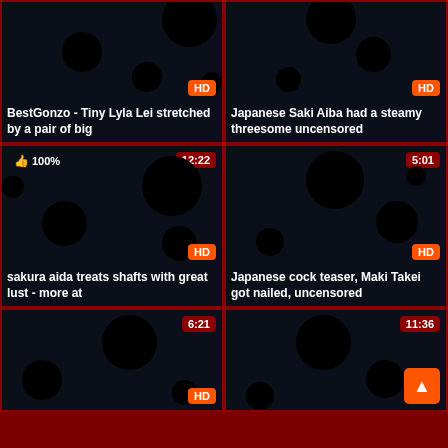[Figure (screenshot): Video thumbnail grid - adult video website screenshot with 6 video cards in a 2-column layout]
BestGonzo - Tiny Lyla Lei stretched by a pair of big
Japanese Saki Aiba had a steamy threesome uncensored
sakura aida treats shafts with great lust - more at
Japanese cock teaser, Maki Takei got nailed, uncensored